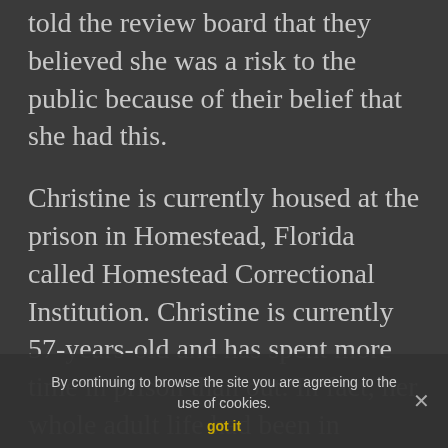told the review board that they believed she was a risk to the public because of their belief that she had this.
Christine is currently housed at the prison in Homestead, Florida called Homestead Correctional Institution. Christine is currently 57-years-old and has spent more time in prison than out. In fact, her whole adult life had been in prison.
T he struggling — you would add the, now but I can't find any information about that, and it's a surprisingly
By continuing to browse the site you are agreeing to the use of cookies.
got it